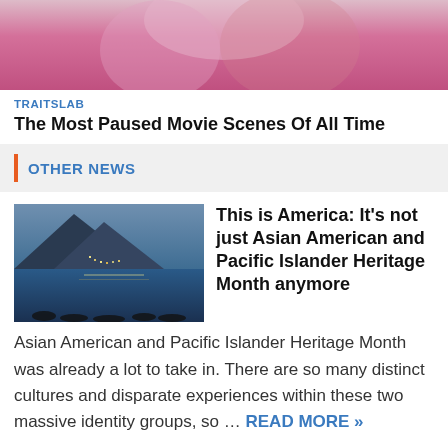[Figure (photo): Partial photo of a person with blonde hair wearing a pink top, cropped at the top of the page]
TRAITSLAB
The Most Paused Movie Scenes Of All Time
OTHER NEWS
[Figure (photo): Photo of a coastal scene with a mountain and city lights reflected on water, with silhouettes of people in the foreground]
This is America: It's not just Asian American and Pacific Islander Heritage Month anymore
Asian American and Pacific Islander Heritage Month was already a lot to take in. There are so many distinct cultures and disparate experiences within these two massive identity groups, so … READ MORE »